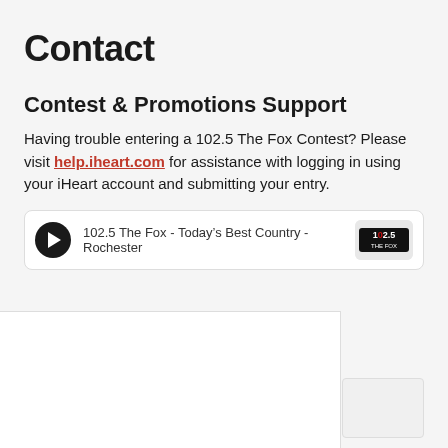Contact
Contest & Promotions Support
Having trouble entering a 102.5 The Fox Contest? Please visit help.iheart.com for assistance with logging in using your iHeart account and submitting your entry.
[Figure (screenshot): Radio player widget showing '102.5 The Fox - Today's Best Country - Rochester' with a play button and station logo]
[Figure (screenshot): Content area below the player, partially visible white and grey panel]